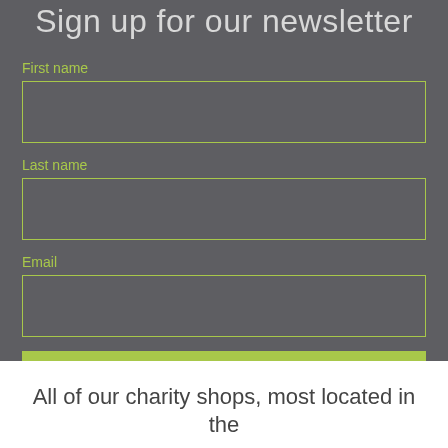Sign up for our newsletter
First name
Last name
Email
SEND
All of our charity shops, most located in the